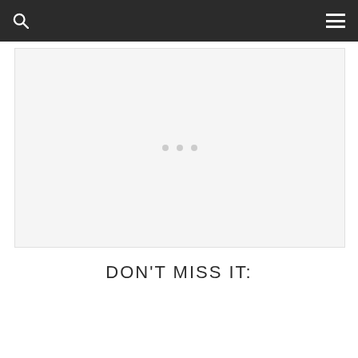[Figure (other): Large light gray image placeholder with three small gray dots centered in the middle, representing a loading or empty slideshow/carousel area]
DON'T MISS IT: